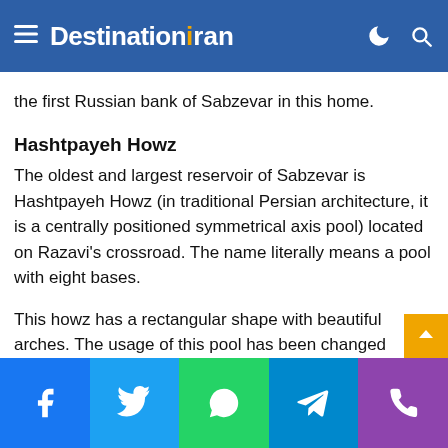DestinationIran
This house was one of the residential areas of Sabzevar. The Russians established the first Russian bank of Sabzevar in this home.
Hashtpayeh Howz
The oldest and largest reservoir of Sabzevar is Hashtpayeh Howz (in traditional Persian architecture, it is a centrally positioned symmetrical axis pool) located on Razavi's crossroad. The name literally means a pool with eight bases.
This howz has a rectangular shape with beautiful arches. The usage of this pool has been changed several times. The construction of Hashtpayeh Howz dates back to Sarbedaran era (mid-14-century).
Facebook Twitter WhatsApp Telegram Phone